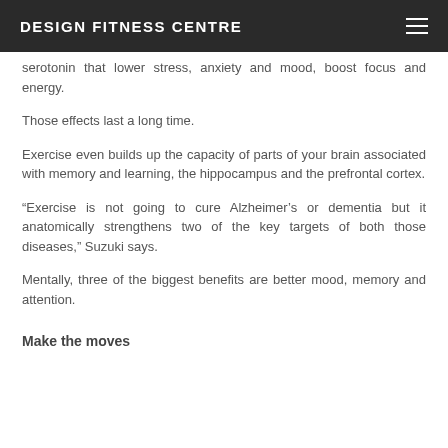DESIGN FITNESS CENTRE
serotonin that lower stress, anxiety and mood, boost focus and energy.
Those effects last a long time.
Exercise even builds up the capacity of parts of your brain associated with memory and learning, the hippocampus and the prefrontal cortex.
“Exercise is not going to cure Alzheimer’s or dementia but it anatomically strengthens two of the key targets of both those diseases,” Suzuki says.
Mentally, three of the biggest benefits are better mood, memory and attention.
Make the moves